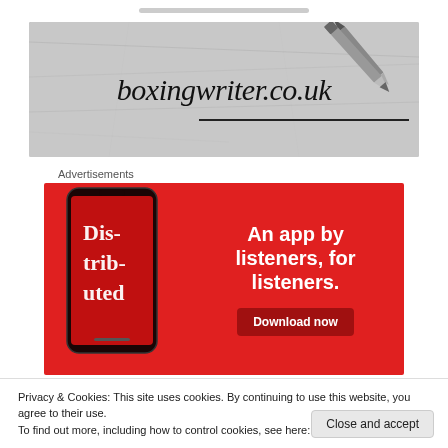[Figure (logo): boxingwriter.co.uk logo — handwritten-style italic text with a pencil drawing on a crumpled paper background]
Advertisements
[Figure (infographic): Red advertisement banner for a podcast app. Shows a smartphone with 'Dis-trib-uted' podcast app on screen. Text reads 'An app by listeners, for listeners.' with a 'Download now' button.]
Privacy & Cookies: This site uses cookies. By continuing to use this website, you agree to their use.
To find out more, including how to control cookies, see here: Cookie Policy
Close and accept